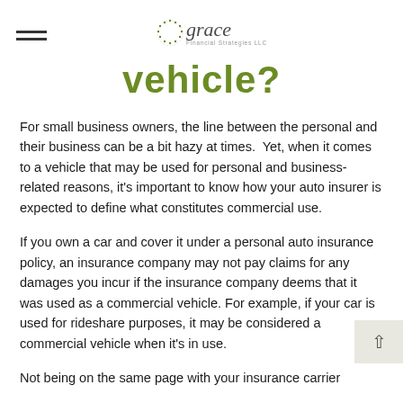grace Financial Strategies LLC
vehicle?
For small business owners, the line between the personal and their business can be a bit hazy at times. Yet, when it comes to a vehicle that may be used for personal and business-related reasons, it's important to know how your auto insurer is expected to define what constitutes commercial use.
If you own a car and cover it under a personal auto insurance policy, an insurance company may not pay claims for any damages you incur if the insurance company deems that it was used as a commercial vehicle. For example, if your car is used for rideshare purposes, it may be considered a commercial vehicle when it's in use.
Not being on the same page with your insurance carrier